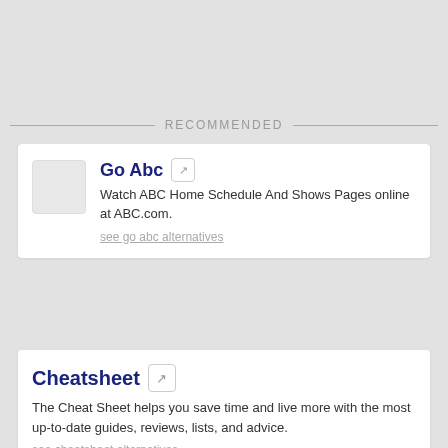RECOMMENDED
Go Abc
Watch ABC Home Schedule And Shows Pages online at ABC.com.
see go abc alternatives
Cheatsheet
The Cheat Sheet helps you save time and live more with the most up-to-date guides, reviews, lists, and advice.
see cheatsheet alternatives